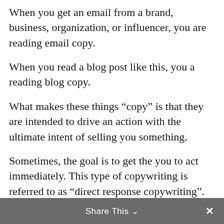When you get an email from a brand, business, organization, or influencer, you are reading email copy.
When you read a blog post like this, you a reading blog copy.
What makes these things “copy” is that they are intended to drive an action with the ultimate intent of selling you something.
Sometimes, the goal is to get the you to act immediately. This type of copywriting is referred to as “direct response copywriting”.
Share This ∨ ×